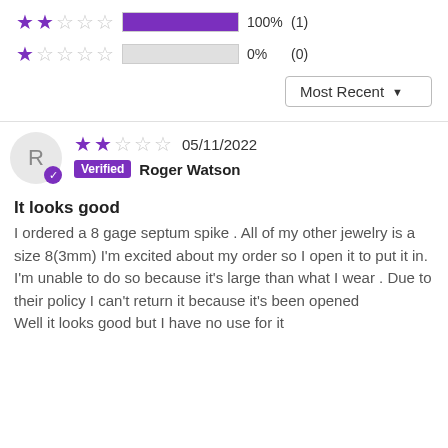[Figure (other): Rating bar row: 2 stars filled, 100% bar filled purple, 100% (1)]
[Figure (other): Rating bar row: 1 star filled, 0% bar empty, 0% (0)]
Most Recent ▼
R
★★☆☆☆ 05/11/2022
Verified Roger Watson
It looks good
I ordered a 8 gage septum spike . All of my other jewelry is a size 8(3mm) I'm excited about my order so I open it to put it in. I'm unable to do so because it's large than what I wear . Due to their policy I can't return it because it's been opened
Well it looks good but I have no use for it